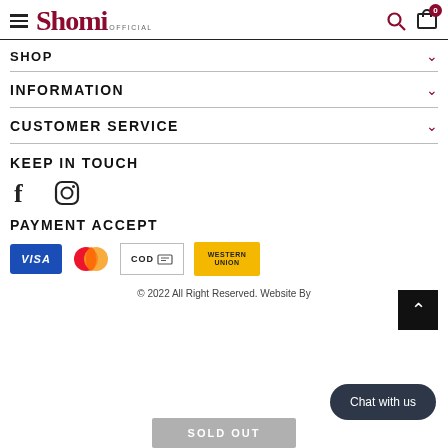Shomi OFFICIAL — navigation header with search and cart (0)
SHOP
INFORMATION
CUSTOMER SERVICE
KEEP IN TOUCH
[Figure (illustration): Facebook and Instagram social media icons]
PAYMENT ACCEPT
[Figure (illustration): Payment method icons: VISA, Mastercard, COD, Western Union]
© 2022 All Right Reserved. Website By
SOLD OUT
Chat with us